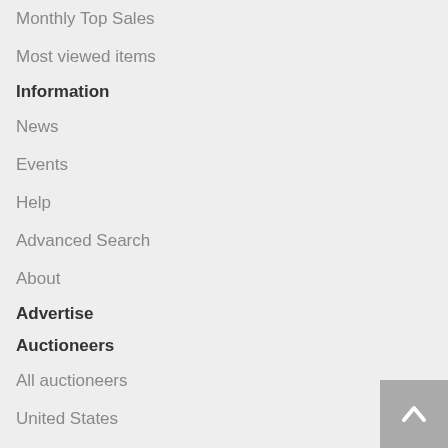Monthly Top Sales
Most viewed items
Information
News
Events
Help
Advanced Search
About
Advertise
Auctioneers
All auctioneers
United States
Germany
United Kingdom
France
Australia